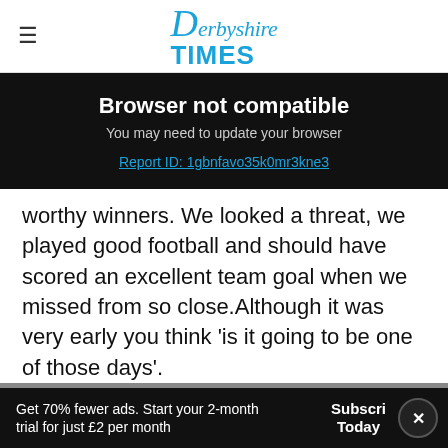Derbyshire Times
Browser not compatible
You may need to update your browser
Report ID: 1gbnfavo35k0mr3kne3
worthy winners. We looked a threat, we played good football and should have scored an excellent team goal when we missed from so close.Although it was very early you think 'is it going to be one of those days'.
"John (McAtee) then strikes, bale shot a jet fr
Get 70% fewer ads. Start your 2-month trial for just £2 per month
Subscribe Today